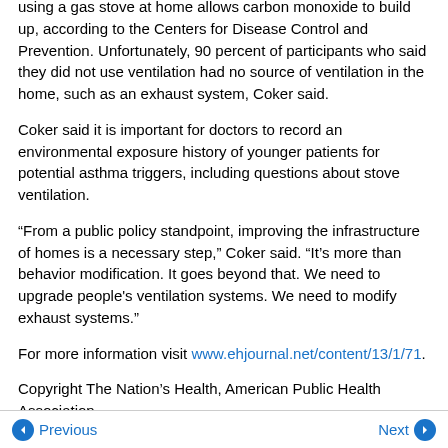using a gas stove at home allows carbon monoxide to build up, according to the Centers for Disease Control and Prevention. Unfortunately, 90 percent of participants who said they did not use ventilation had no source of ventilation in the home, such as an exhaust system, Coker said.
Coker said it is important for doctors to record an environmental exposure history of younger patients for potential asthma triggers, including questions about stove ventilation.
“From a public policy standpoint, improving the infrastructure of homes is a necessary step,” Coker said. “It’s more than behavior modification. It goes beyond that. We need to upgrade people’s ventilation systems. We need to modify exhaust systems.”
For more information visit www.ehjournal.net/content/13/1/71.
Copyright The Nation’s Health, American Public Health Association
Previous | Next